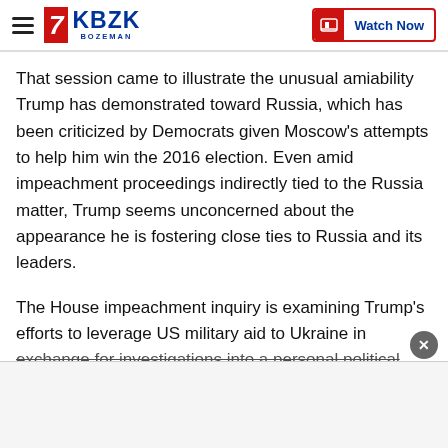KBZK BOZEMAN — Watch Now
That session came to illustrate the unusual amiability Trump has demonstrated toward Russia, which has been criticized by Democrats given Moscow's attempts to help him win the 2016 election. Even amid impeachment proceedings indirectly tied to the Russia matter, Trump seems unconcerned about the appearance he is fostering close ties to Russia and its leaders.
The House impeachment inquiry is examining Trump's efforts to leverage US military aid to Ukraine in exchange for investigations into a personal political